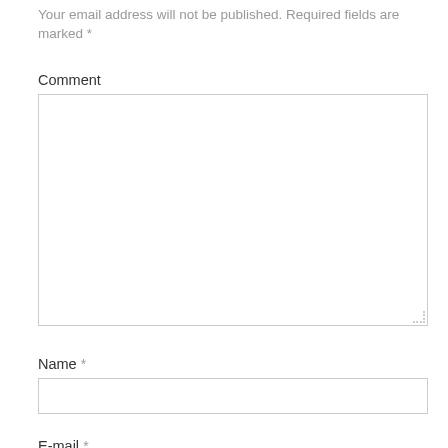Your email address will not be published. Required fields are marked *
Comment
Name *
E-mail *